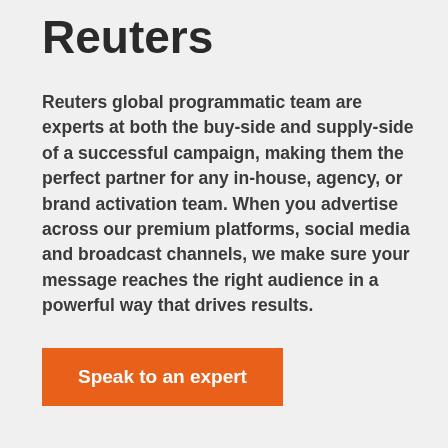Reuters
Reuters global programmatic team are experts at both the buy-side and supply-side of a successful campaign, making them the perfect partner for any in-house, agency, or brand activation team. When you advertise across our premium platforms, social media and broadcast channels, we make sure your message reaches the right audience in a powerful way that drives results.
Speak to an expert